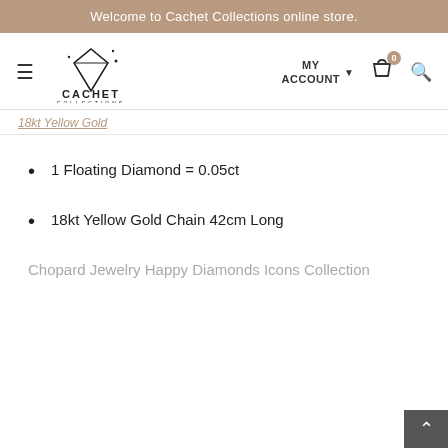Welcome to Cachet Collections online store.
[Figure (logo): Cachet Collections logo with diamond graphic and text 'CACHET COLLECTIONS']
18kt Yellow Gold
1 Floating Diamond = 0.05ct
18kt Yellow Gold Chain  42cm Long
Chopard Jewelry Happy Diamonds Icons Collection